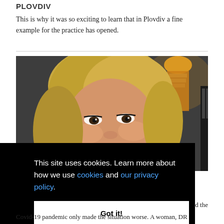PLOVDIV
This is why it was so exciting to learn that in Plovdiv a fine example for the practice has opened.
[Figure (photo): Portrait photo of a blonde woman smiling, taken in a warm-lit indoor setting with a lamp visible in the background.]
This site uses cookies. Learn more about how we use cookies and our privacy policy.
Got it!
d the Covid-19 pandemic only made the situation worse. A woman, DR